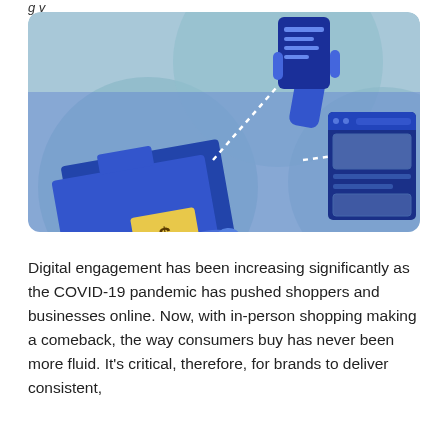g y
[Figure (illustration): An illustration on a light blue/teal background showing stylized blue figures engaged in digital commerce. A hand holding a phone/document at the top center, connected by dotted lines to a hand inserting a dollar-sign envelope into a wallet/folder on the lower left, and a browser/website window on the lower right. The background has overlapping circular shapes in muted blue-green tones.]
Digital engagement has been increasing significantly as the COVID-19 pandemic has pushed shoppers and businesses online. Now, with in-person shopping making a comeback, the way consumers buy has never been more fluid. It's critical, therefore, for brands to deliver consistent,